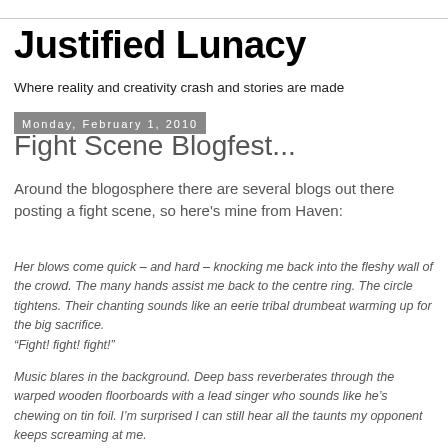Justified Lunacy
Where reality and creativity crash and stories are made
Monday, February 1, 2010
Fight Scene Blogfest...
Around the blogosphere there are several blogs out there posting a fight scene, so here's mine from Haven:
Her blows come quick – and hard – knocking me back into the fleshy wall of the crowd. The many hands assist me back to the centre ring. The circle tightens. Their chanting sounds like an eerie tribal drumbeat warming up for the big sacrifice.
“Fight! fight! fight!”
Music blares in the background. Deep bass reverberates through the warped wooden floorboards with a lead singer who sounds like he’s chewing on tin foil. I’m surprised I can still hear all the taunts my opponent keeps screaming at me.